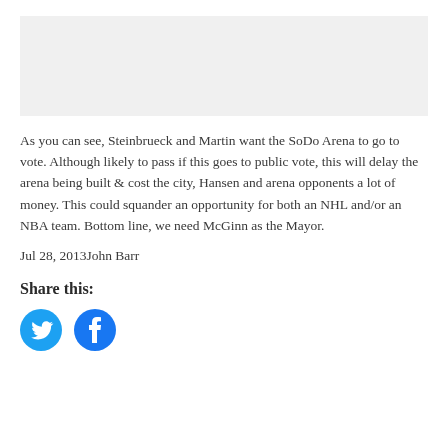[Figure (other): Gray placeholder image area at top of page]
As you can see, Steinbrueck and Martin want the SoDo Arena to go to vote. Although likely to pass if this goes to public vote, this will delay the arena being built & cost the city, Hansen and arena opponents a lot of money. This could squander an opportunity for both an NHL and/or an NBA team. Bottom line, we need McGinn as the Mayor.
Jul 28, 2013John Barr
Share this:
[Figure (other): Twitter and Facebook social sharing icon buttons]